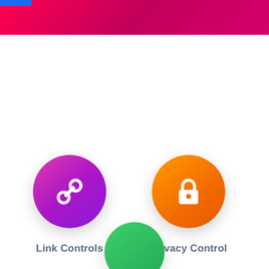[Figure (illustration): Red/pink gradient header banner at the top of the screen with a small blue tab in the top-left corner]
[Figure (illustration): Purple gradient circular icon with a chain/link symbol in white]
Link Controls
[Figure (illustration): Orange gradient circular icon with a padlock/lock symbol in white]
Privacy Control
[Figure (illustration): Green circular icon partially visible at the bottom center of the page]